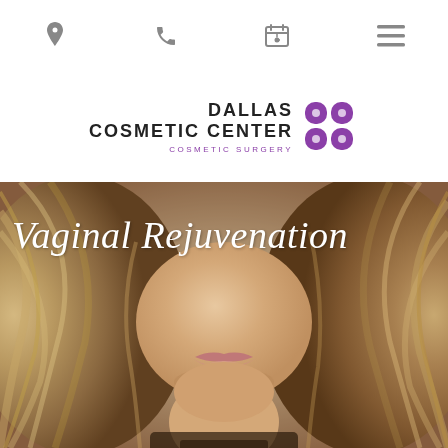Navigation bar with location, phone, calendar, and menu icons
[Figure (logo): Dallas Cosmetic Center logo with purple flower/clover icon and text: DALLAS COSMETIC CENTER COSMETIC SURGERY]
[Figure (photo): Close-up portrait of a woman with long blonde wavy hair, showing lower face with lips and neck, against a neutral background]
Vaginal Rejuvenation